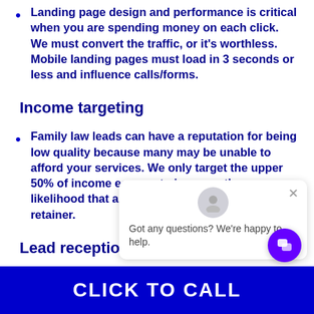Landing page design and performance is critical when you are spending money on each click. We must convert the traffic, or it's worthless. Mobile landing pages must load in 3 seconds or less and influence calls/forms.
Income targeting
Family law leads can have a reputation for being low quality because many may be unable to afford your services. We only target the upper 50% of income earners to increase the likelihood that a lead can pay a $2,000-$4,000+ retainer.
Lead reception
Our best clients are willing to be involved in the intake process. The first time someone calls your firm, they haven't met with a person on the other side. Answering yourself is not the best idea to answer from a new client acquisition perspective, and can actually make you look small. We recommend a call answering service for solo attorneys because
CLICK TO CALL